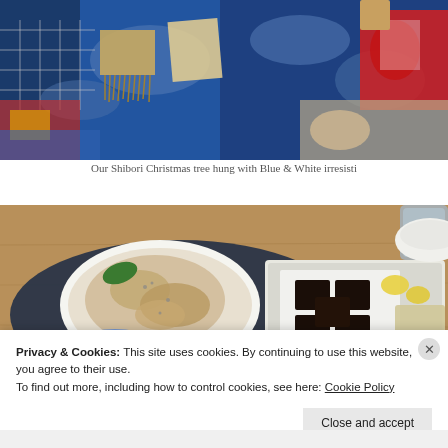[Figure (photo): Close-up photo of a Shibori Christmas tree hung with Blue & White items, featuring indigo-dyed denim fabric with patches and decorative items visible.]
Our Shibori Christmas tree hung with Blue & White irresisti
[Figure (photo): Photo of Japanese food spread on a dark blue cloth, showing a plate of grilled/seasoned food, dark chocolate or konnyaku cubes, a small cup with green sauce, and a platter with lemon garnish and other dishes, along with a glass in the background.]
Privacy & Cookies: This site uses cookies. By continuing to use this website, you agree to their use.
To find out more, including how to control cookies, see here: Cookie Policy
Close and accept